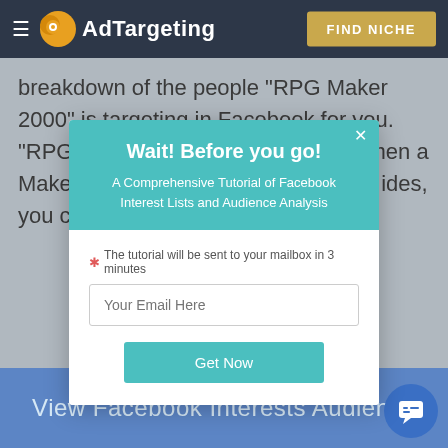AdTargeting | FIND NICHE
breakdown of the people "RPG Maker 2000" is targeting in Facebook for you. "RPG Maker 2000" has an audience are men a... Maker ...ced for 39% target ...s on AdTar... ides, you ca... to get more e...
[Figure (screenshot): Modal popup overlay on AdTargeting website with teal header reading 'Wait! Before you go!' and subtitle 'A Comprehensive Tutorial of Facebook Interest Lists and Audience Analysis', email input field with placeholder 'Your Email Here', and a 'Get Now' teal button. A red asterisk note reads 'The tutorial will be sent to your mailbox in 3 minutes'.]
View Facebook Interests Audience